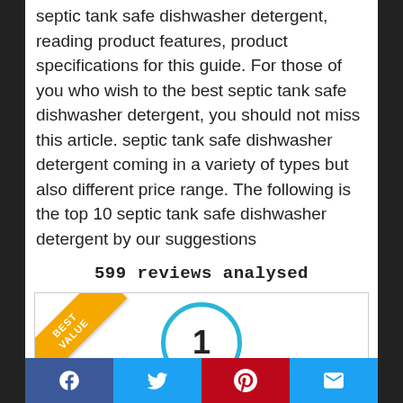septic tank safe dishwasher detergent, reading product features, product specifications for this guide. For those of you who wish to the best septic tank safe dishwasher detergent, you should not miss this article. septic tank safe dishwasher detergent coming in a variety of types but also different price range. The following is the top 10 septic tank safe dishwasher detergent by our suggestions
599 reviews analysed
[Figure (infographic): A card with a golden 'BEST VALUE' diagonal ribbon badge in top-left corner and a blue-outlined circle containing the number 1 centered in the card.]
Social sharing bar with Facebook, Twitter, Pinterest, and Email icons